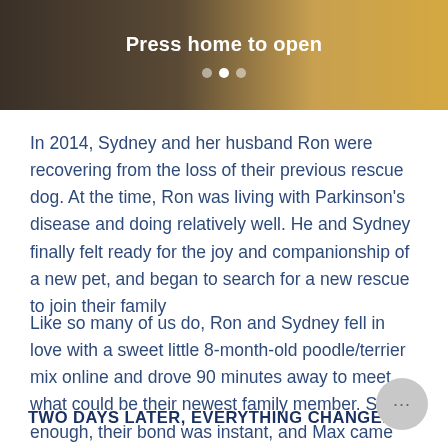[Figure (screenshot): App screenshot banner showing 'Press home to open' text with navigation dots on a dark-to-light brown gradient background]
In 2014, Sydney and her husband Ron were recovering from the loss of their previous rescue dog. At the time, Ron was living with Parkinson's disease and doing relatively well. He and Sydney finally felt ready for the joy and companionship of a new pet, and began to search for a new rescue to join their family
Like so many of us do, Ron and Sydney fell in love with a sweet little 8-month-old poodle/terrier mix online and drove 90 minutes away to meet what could be their newest family member. Sure enough, their bond was instant, and Max came home to stay.
Two days later, everything changed